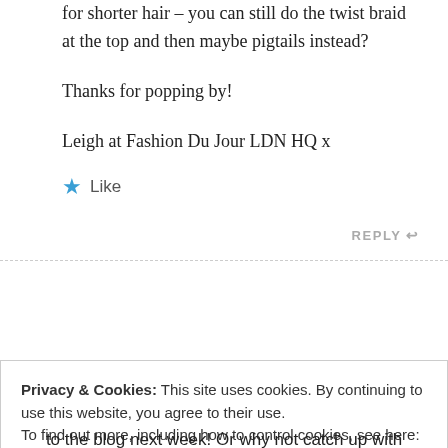for shorter hair – you can still do the twist braid at the top and then maybe pigtails instead?
Thanks for popping by!
Leigh at Fashion Du Jour LDN HQ x
★ Like
REPLY ↩
Privacy & Cookies: This site uses cookies. By continuing to use this website, you agree to their use. To find out more, including how to control cookies, see here: Cookie Policy
Close and accept
to the blog next week! Or why not catch up with